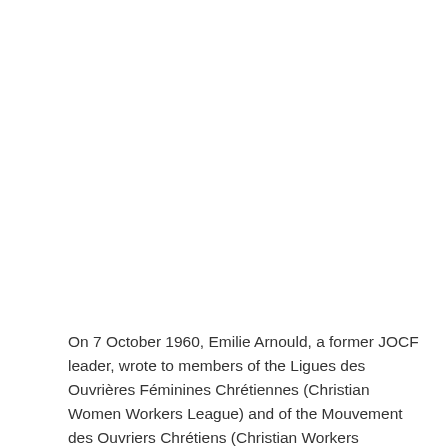On 7 October 1960, Emilie Arnould, a former JOCF leader, wrote to members of the Ligues des Ouvrières Féminines Chrétiennes (Christian Women Workers League) and of the Mouvement des Ouvriers Chrétiens (Christian Workers Movement) to invite them to